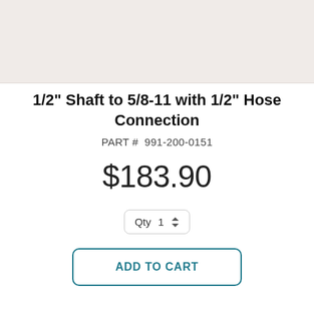[Figure (photo): Product image area with light beige/cream background]
1/2" Shaft to 5/8-11 with 1/2" Hose Connection
PART #  991-200-0151
$183.90
Qty  1
ADD TO CART